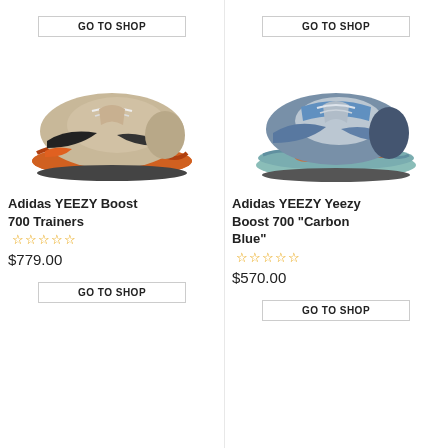[Figure (photo): Adidas YEEZY Boost 700 Trainers shoe - beige/orange colorway]
[Figure (photo): Adidas YEEZY Yeezy Boost 700 Carbon Blue shoe - blue/grey/orange colorway]
Adidas YEEZY Boost 700 Trainers
Adidas YEEZY Yeezy Boost 700 "Carbon Blue"
$779.00
$570.00